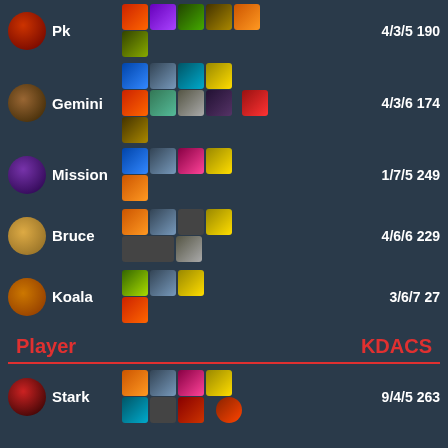Pk  4/3/5  190
Gemini  4/3/6  174
Mission  1/7/5  249
Bruce  4/6/6  229
Koala  3/6/7  27
Player    KDACS
Stark  9/4/5  263